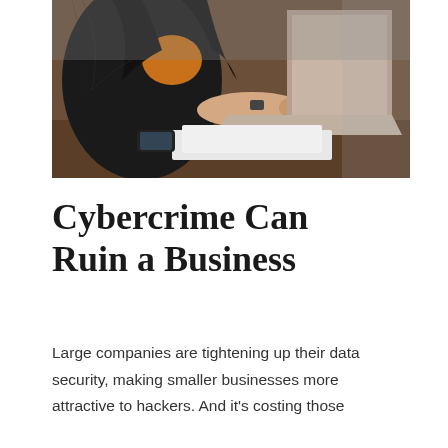[Figure (photo): Close-up photo of a person in a black leather jacket and orange top working on a laptop at a desk. Papers and a phone are visible on the table.]
Cybercrime Can Ruin a Business
Large companies are tightening up their data security, making smaller businesses more attractive to hackers. And it's costing those